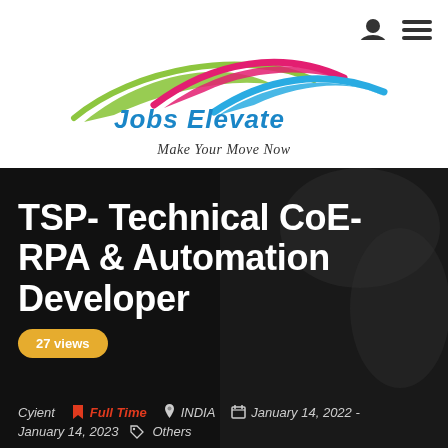[Figure (logo): Jobs Elevate logo with colorful swoosh lines (green, pink/red, blue) above the company name 'Jobs Elevate' in blue bold font with tagline 'Make Your Move Now']
TSP- Technical CoE-RPA & Automation Developer
27 views
Cyient   Full Time   INDIA   January 14, 2022 - January 14, 2023   Others